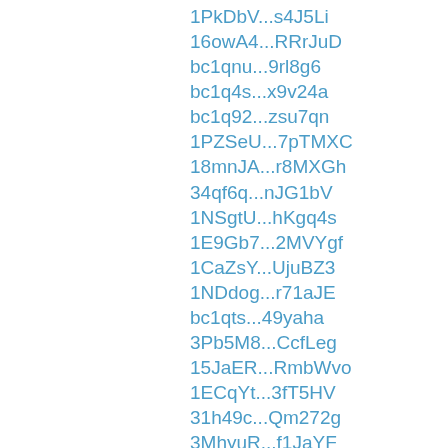1PkDbV...s4J5Li
16owA4...RRrJuD
bc1qnu...9rl8g6
bc1q4s...x9v24a
bc1q92...zsu7qn
1PZSeU...7pTMXC
18mnJA...r8MXGh
34qf6q...nJG1bV
1NSgtU...hKgq4s
1E9Gb7...2MVYgf
1CaZsY...UjuBZ3
1NDdog...r71aJE
bc1qts...49yaha
3Pb5M8...CcfLeg
15JaER...RmbWvo
1ECqYt...3fT5HV
31h49c...Qm272g
3MhyuR...f1JaYF
12hrRG...bqzaFZ
3Pqi2a...A8UtuN
1CNNxk...FCoHiD
1MMiMX...sioWoT